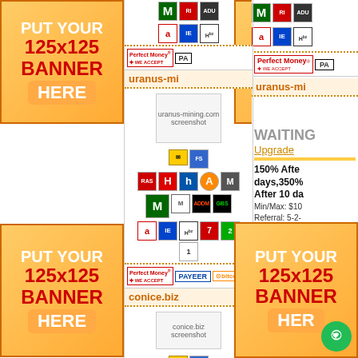[Figure (infographic): Top-left banner placeholder: PUT YOUR 125x125 BANNER HERE]
[Figure (infographic): Top-right banner placeholder: PUT YOUR 125x125 BANNER HERE]
[Figure (screenshot): Center column showing uranus-mining.com listing with icons, payment badges, and site screenshot]
WAITING
Upgrade
150% After days,350% After 10 da
Min/Max: $10
Referral: 5-2-
Withdrawal: M
conice.biz
[Figure (screenshot): conice.biz screenshot thumbnail]
[Figure (infographic): Bottom-left banner placeholder: PUT YOUR 125x125 BANNER HERE]
[Figure (infographic): Bottom-right banner placeholder: PUT YOUR 125x125 BANNER HERE]